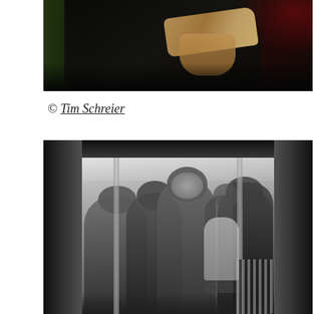[Figure (photo): Top portion of a photograph showing a person in dark clothing holding a yellow/orange paper or card, with dark background and reddish/green lighting tones. The photo is cropped, showing mainly hands and upper body.]
© Tim Schreier
[Figure (photo): Black and white photograph of a crowded subway/metro car, taken from the perspective of the open doorway. Multiple people are visible inside the car, including a woman in the center making direct eye contact with the camera, others looking at phones or looking away. The image shows the interior of the train with overhead handrails and natural commuter scene.]